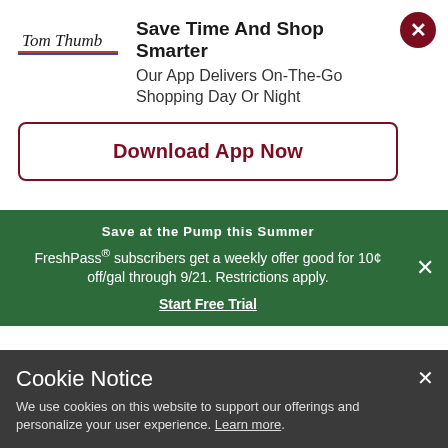Save Time And Shop Smarter
Our App Delivers On-The-Go Shopping Day Or Night
Download App Now
Save at the Pump this Summer
FreshPass® subscribers get a weekly offer good for 10¢ off/gal through 9/21. Restrictions apply.
Start Free Trial
Foot Care
Odor & Antifungal
Cookie Notice
We use cookies on this website to support our offerings and personalize your user experience. Learn more.